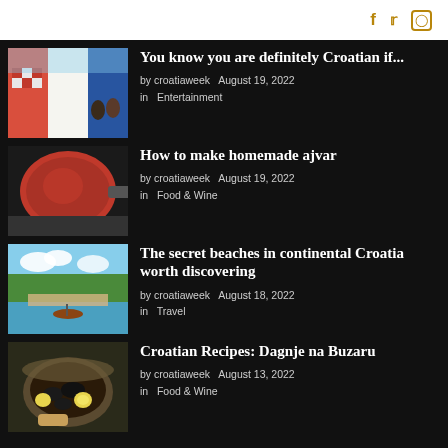Social icons: Facebook, Twitter, Instagram
[Figure (photo): People holding Croatian flag on a beach]
You know you are definitely Croatian if...
by croatiaweek   August 19, 2022
in   Entertainment
[Figure (photo): Bowl of homemade ajvar (red pepper paste)]
How to make homemade ajvar
by croatiaweek   August 19, 2022
in   Food & Wine
[Figure (photo): Secret beach on a river in continental Croatia with boats and trees]
The secret beaches in continental Croatia worth discovering
by croatiaweek   August 18, 2022
in   Travel
[Figure (photo): Bowl of Croatian mussels dish Dagnje na Buzaru]
Croatian Recipes: Dagnje na Buzaru
by croatiaweek   August 13, 2022
in   Food & Wine